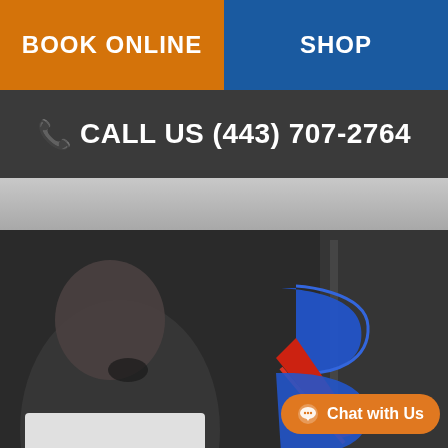BOOK ONLINE
SHOP
CALL US (443) 707-2764
[Figure (photo): A woman appearing distressed near a door, with a large stylized 'B' logo in blue and red overlaid on the image]
Chat with Us